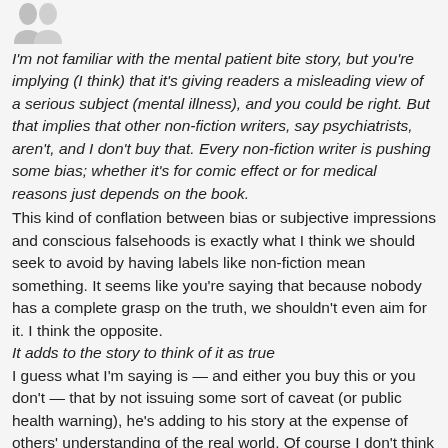[Figure (illustration): Two small avatar/user silhouette icons in gray at the top left]
I'm not familiar with the mental patient bite story, but you're implying (I think) that it's giving readers a misleading view of a serious subject (mental illness), and you could be right. But that implies that other non-fiction writers, say psychiatrists, aren't, and I don't buy that. Every non-fiction writer is pushing some bias; whether it's for comic effect or for medical reasons just depends on the book.
This kind of conflation between bias or subjective impressions and conscious falsehoods is exactly what I think we should seek to avoid by having labels like non-fiction mean something. It seems like you're saying that because nobody has a complete grasp on the truth, we shouldn't even aim for it. I think the opposite.
It adds to the story to think of it as true
I guess what I'm saying is — and either you buy this or you don't — that by not issuing some sort of caveat (or public health warning), he's adding to his story at the expense of others' understanding of the real world. Of course I don't think he's doing much harm — I wouldn't